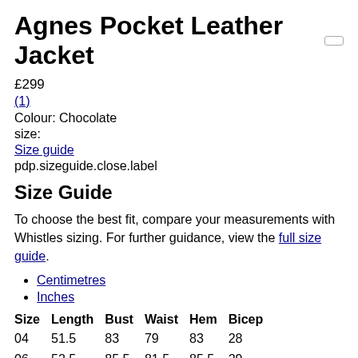Agnes Pocket Leather Jacket
£299
(1)
Colour: Chocolate
size:
Size guide
pdp.sizeguide.close.label
Size Guide
To choose the best fit, compare your measurements with Whistles sizing. For further guidance, view the full size guide.
Centimetres
Inches
| Size | Length | Bust | Waist | Hem | Bicep |
| --- | --- | --- | --- | --- | --- |
| 04 | 51.5 | 83 | 79 | 83 | 28 |
| 06 | 52.5 | 85.5 | 81.5 | 85.5 | 29 |
| 08 | 53 | 88 | 84 | 88 | 30 |